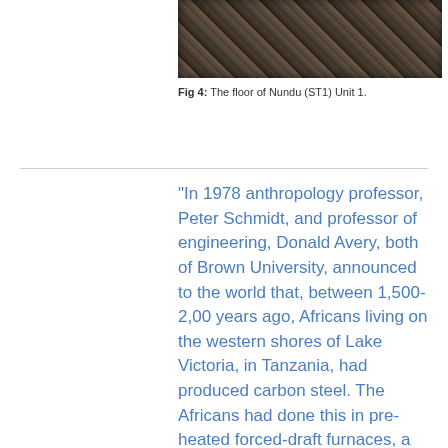[Figure (photo): Photograph of the floor of Nundu (ST1) Unit 1, showing rocky/soil surface]
Fig 4: The floor of Nundu (ST1) Unit 1.
"In 1978 anthropology professor, Peter Schmidt, and professor of engineering, Donald Avery, both of Brown University, announced to the world that, between 1,500-2,00 years ago, Africans living on the western shores of Lake Victoria, in Tanzania, had produced carbon steel. The Africans had done this in pre-heated forced-draft furnaces, a method that was technologically more sophisticated than any developed in Europe until the